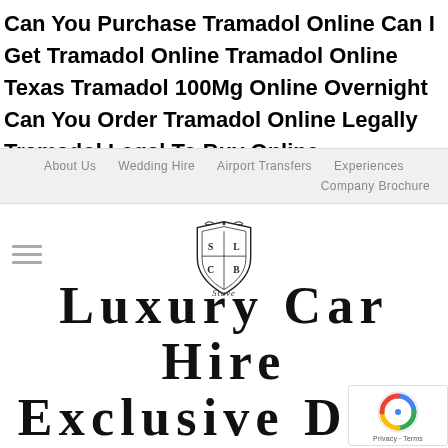Can You Purchase Tramadol Online Can I Get Tramadol Online Tramadol Online Texas Tramadol 100Mg Online Overnight Can You Order Tramadol Online Legally Tramadol Legal To Buy Online
About Us   Wedding Hire   Airport Transfers   Experiences   Company Brochure
[Figure (logo): Decorative crest/shield logo with ornate flourishes and cursive text below]
Luxury Car Hire Exclusive Deal